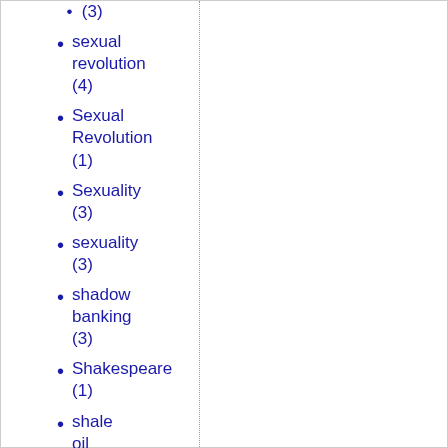(3)
sexual revolution (4)
Sexual Revolution (1)
Sexuality (3)
sexuality (3)
shadow banking (3)
Shakespeare (1)
shale oil (1)
Sharia (2)
sharia (36)
Sharia Law (1)